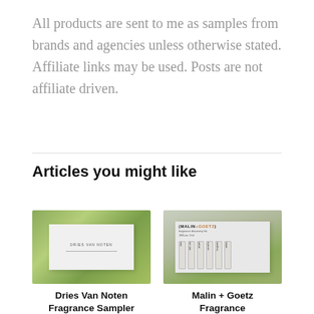All products are sent to me as samples from brands and agencies unless otherwise stated. Affiliate links may be used. Posts are not affiliate driven.
Articles you might like
[Figure (photo): Photo of a Dries Van Noten fragrance sampler box against a green leafy background]
Dries Van Noten Fragrance Sampler
[Figure (photo): Photo of a Malin + Goetz fragrance discovery kit with small vials against a green background]
Malin + Goetz Fragrance